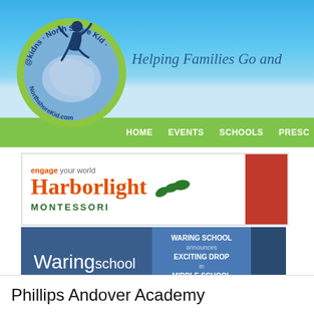[Figure (logo): North Shore Kid logo — circular badge with green border, silhouette of jumping child over Massachusetts map, text '@kidns', 'North Shore Kid', 'NorthshoreKid.com']
Helping Families Go and
HOME   EVENTS   SCHOOLS   PRESC
[Figure (logo): Harborlight Montessori advertisement — 'engage your world' in small text, 'Harborlight' in orange with green leaf icons, 'MONTESSORI' in green bold caps]
[Figure (logo): Waring School advertisement — 'Waring school' in white on dark blue; text panel says 'WARING SCHOOL announces EXCITING DROP in MIDDLE SCHOOL TUITION']
Phillips Andover Academy